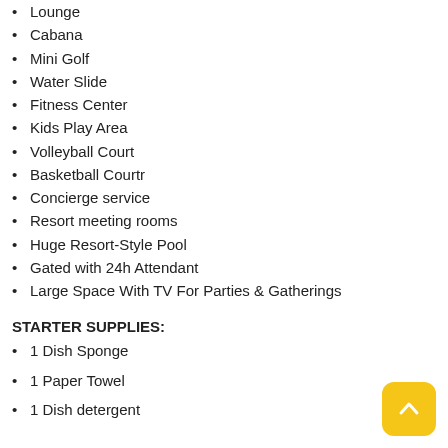Lounge
Cabana
Mini Golf
Water Slide
Fitness Center
Kids Play Area
Volleyball Court
Basketball Courtr
Concierge service
Resort meeting rooms
Huge Resort-Style Pool
Gated with 24h Attendant
Large Space With TV For Parties & Gatherings
STARTER SUPPLIES:
1 Dish Sponge
1 Paper Towel
1 Dish detergent